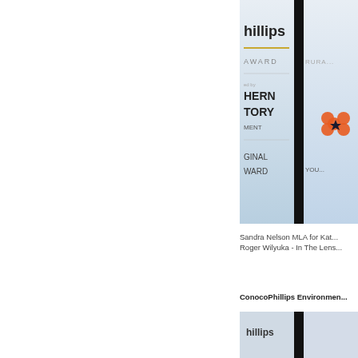[Figure (photo): Photo of award banners/boards showing 'hillips AWARD', 'HERN TORY MENT', 'GINAL WARD' text and a floral logo, with a black divider between two banners]
Sandra Nelson MLA for Kat... Roger Wilyuka - In The Lens...
ConocoPhillips Environmen...
Frazer Oliver, 25 of Santa T... Ranger program, the team f... III in Conservation and Land...
[Figure (photo): Partial photo at bottom of page showing award banners]